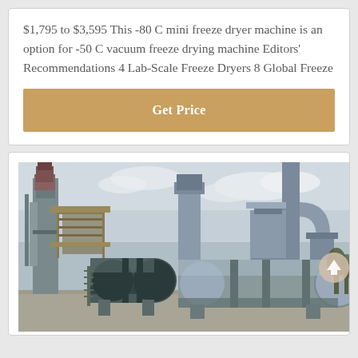$1,795 to $3,595 This -80 C mini freeze dryer machine is an option for -50 C vacuum freeze drying machine Editors' Recommendations 4 Lab-Scale Freeze Dryers 8 Global Freeze
Get Price
[Figure (photo): Industrial freeze drying / rotary drum equipment at an outdoor industrial facility. Large horizontal cylindrical metal drums, pipes, scaffolding structures, and industrial towers visible against a cloudy sky.]